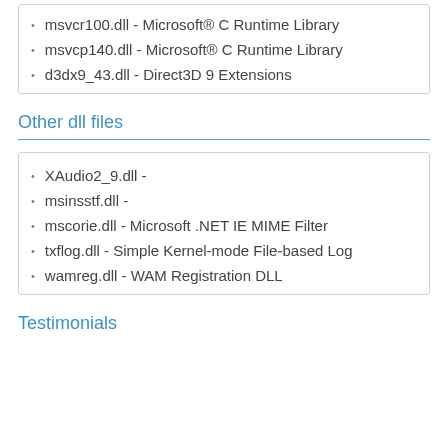msvcr100.dll - Microsoft® C Runtime Library
msvcp140.dll - Microsoft® C Runtime Library
d3dx9_43.dll - Direct3D 9 Extensions
Other dll files
XAudio2_9.dll -
msinsstf.dll -
mscorie.dll - Microsoft .NET IE MIME Filter
txflog.dll - Simple Kernel-mode File-based Log
wamreg.dll - WAM Registration DLL
Testimonials